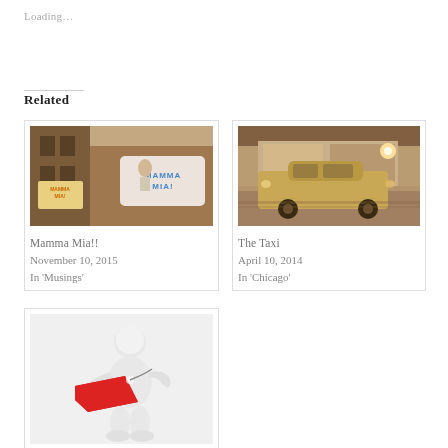Loading...
Related
[Figure (photo): Photo of Mamma Mia! Broadway show signage on a building exterior]
Mamma Mia!!
November 10, 2015
In 'Musings'
[Figure (photo): Sepia-toned photo of a taxi cab driving on a city street]
The Taxi
April 10, 2014
In 'Chicago'
[Figure (illustration): 3D illustration of a white figure holding a large red price tag]